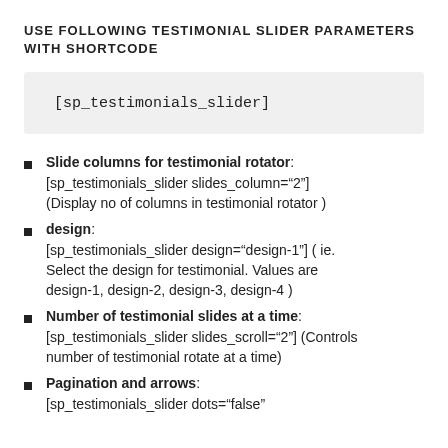USE FOLLOWING TESTIMONIAL SLIDER PARAMETERS WITH SHORTCODE
[sp_testimonials_slider]
Slide columns for testimonial rotator: [sp_testimonials_slider slides_column="2"] (Display no of columns in testimonial rotator )
design: [sp_testimonials_slider design="design-1"] ( ie. Select the design for testimonial. Values are design-1, design-2, design-3, design-4 )
Number of testimonial slides at a time: [sp_testimonials_slider slides_scroll="2"] (Controls number of testimonial rotate at a time)
Pagination and arrows: [sp_testimonials_slider dots="false"